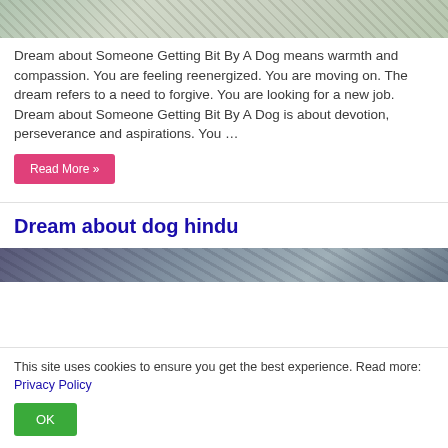[Figure (photo): Top partial image of a dog, muted green/brown tones]
Dream about Someone Getting Bit By A Dog means warmth and compassion. You are feeling reenergized. You are moving on. The dream refers to a need to forgive. You are looking for a new job. Dream about Someone Getting Bit By A Dog is about devotion, perseverance and aspirations. You …
Read More »
Dream about dog hindu
[Figure (photo): Partial image of a dog, blue/purple tones]
This site uses cookies to ensure you get the best experience. Read more: Privacy Policy
OK